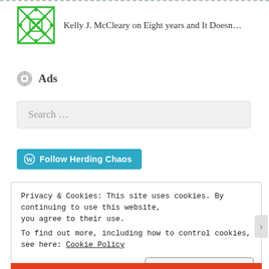Kelly J. McCleary on Eight years and It Doesn...
Ads
Search ...
Follow Herding Chaos
Privacy & Cookies: This site uses cookies. By continuing to use this website, you agree to their use.
To find out more, including how to control cookies, see here: Cookie Policy
Close and accept